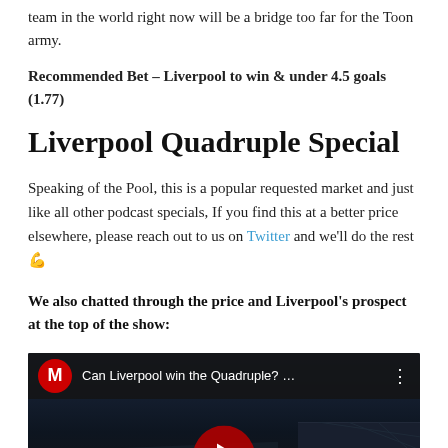team in the world right now will be a bridge too far for the Toon army.
Recommended Bet – Liverpool to win & under 4.5 goals (1.77)
Liverpool Quadruple Special
Speaking of the Pool, this is a popular requested market and just like all other podcast specials, If you find this at a better price elsewhere, please reach out to us on Twitter and we'll do the rest 💪
We also chatted through the price and Liverpool's prospect at the top of the show:
[Figure (screenshot): YouTube video thumbnail showing 'Can Liverpool win the Quadruple? ...' with a stadium background and play button, channel logo M in red circle]